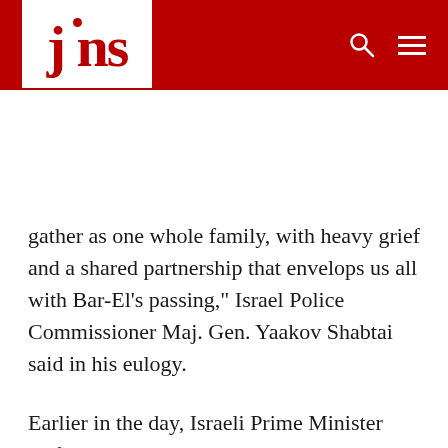jns
gather as one whole family, with heavy grief and a shared partnership that envelops us all with Bar-El’s passing,” Israel Police Commissioner Maj. Gen. Yaakov Shabtai said in his eulogy.
Earlier in the day, Israeli Prime Minister Naftali Bennett said, “I was deeply saddened to receive the bitter news about the death of … Shmueli,